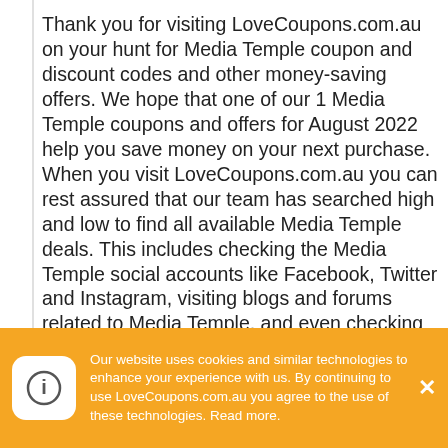Thank you for visiting LoveCoupons.com.au on your hunt for Media Temple coupon and discount codes and other money-saving offers. We hope that one of our 1 Media Temple coupons and offers for August 2022 help you save money on your next purchase. When you visit LoveCoupons.com.au you can rest assured that our team has searched high and low to find all available Media Temple deals. This includes checking the Media Temple social accounts like Facebook, Twitter and Instagram, visiting blogs and forums related to Media Temple, and even checking other top deal sites for the latest Media Temple coupon codes.
Our website uses cookies and similar technologies to enhance your experience with us. By continuing to use LoveCoupons.com.au you agree to the use of these technologies. Read more.